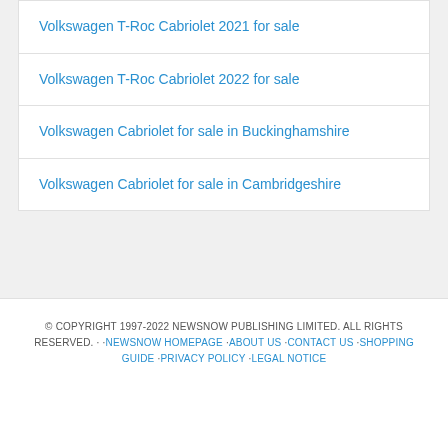Volkswagen T-Roc Cabriolet 2021 for sale
Volkswagen T-Roc Cabriolet 2022 for sale
Volkswagen Cabriolet for sale in Buckinghamshire
Volkswagen Cabriolet for sale in Cambridgeshire
© COPYRIGHT 1997-2022 NEWSNOW PUBLISHING LIMITED. ALL RIGHTS RESERVED. · ·NEWSNOW HOMEPAGE ·ABOUT US ·CONTACT US ·SHOPPING GUIDE ·PRIVACY POLICY ·LEGAL NOTICE